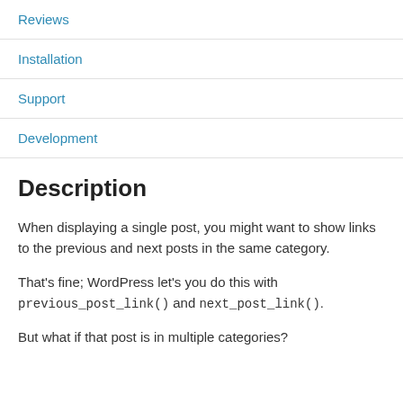Reviews
Installation
Support
Development
Description
When displaying a single post, you might want to show links to the previous and next posts in the same category.
That's fine; WordPress let's you do this with previous_post_link() and next_post_link().
But what if that post is in multiple categories?